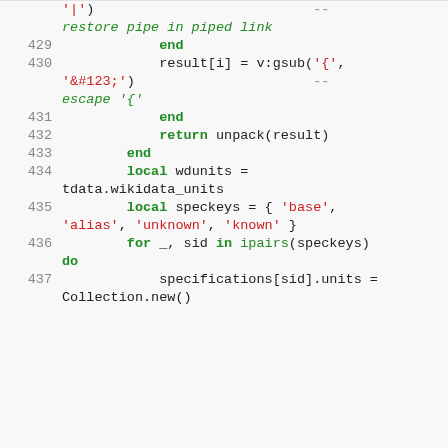Code listing lines 429-437 (Lua source code)